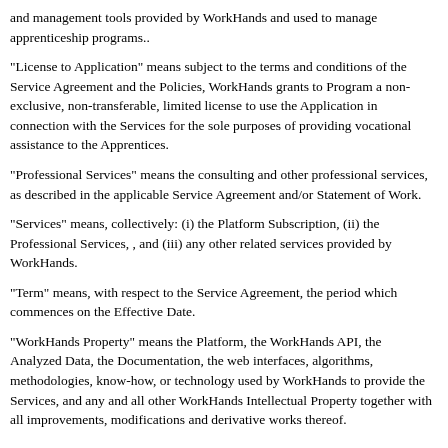and management tools provided by WorkHands and used to manage apprenticeship programs..
"License to Application" means subject to the terms and conditions of the Service Agreement and the Policies, WorkHands grants to Program a non-exclusive, non-transferable, limited license to use the Application in connection with the Services for the sole purposes of providing vocational assistance to the Apprentices.
"Professional Services" means the consulting and other professional services, as described in the applicable Service Agreement and/or Statement of Work.
"Services" means, collectively: (i) the Platform Subscription, (ii) the Professional Services, , and (iii) any other related services provided by WorkHands.
"Term" means, with respect to the Service Agreement, the period which commences on the Effective Date.
"WorkHands Property" means the Platform, the WorkHands API, the Analyzed Data, the Documentation, the web interfaces, algorithms, methodologies, know-how, or technology used by WorkHands to provide the Services, and any and all other WorkHands Intellectual Property together with all improvements, modifications and derivative works thereof.